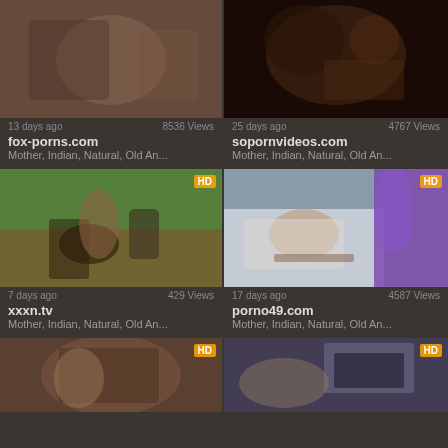[Figure (photo): Video thumbnail top-left, no HD badge]
13 days ago   8536 Views
fox-porns.com
Mother,  Indian,  Natural,  Old An...
[Figure (photo): Video thumbnail top-right, no HD badge]
25 days ago   4767 Views
sopornvideos.com
Mother,  Indian,  Natural,  Old An...
[Figure (photo): Video thumbnail middle-left, HD badge, outdoor scene]
7 days ago   429 Views
xxxn.tv
Mother,  Indian,  Natural,  Old An...
[Figure (photo): Video thumbnail middle-right, HD badge, bedroom scene]
17 days ago   4587 Views
porno49.com
Mother,  Indian,  Natural,  Old An...
[Figure (photo): Video thumbnail bottom-left, HD badge, partial view]
[Figure (photo): Video thumbnail bottom-right, HD badge, partial view]